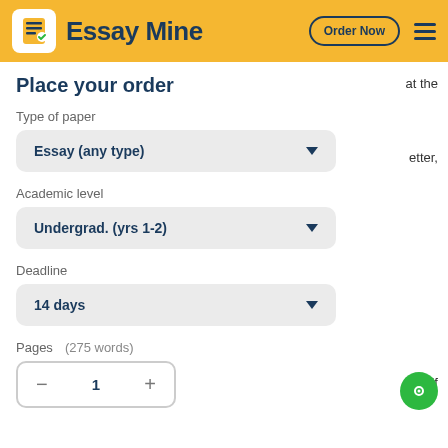Essay Mine  Order Now
Place your order
at the
Type of paper
Essay (any type)
etter,
Academic level
Undergrad. (yrs 1-2)
Deadline
14 days
Pages    (275 words)
(if
1